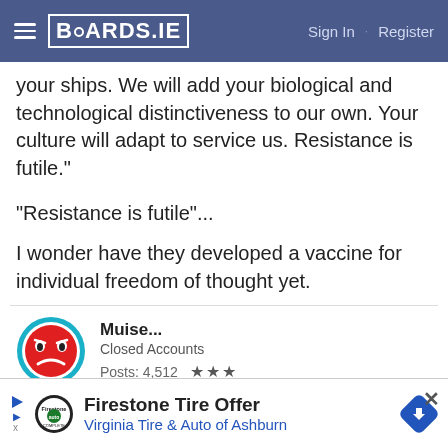BOARDS.IE  Sign In · Register
your ships. We will add your biological and technological distinctiveness to our own. Your culture will adapt to service us. Resistance is futile."
"Resistance is futile"...
I wonder have they developed a vaccine for individual freedom of thought yet.
Muise...
Closed Accounts
Posts: 4,512   ★★★
26-01-2014 2:16pm
[Figure (other): Advertisement banner: Firestone Tire Offer - Virginia Tire & Auto of Ashburn]